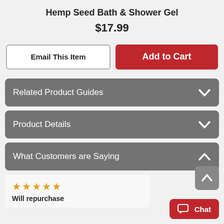Hemp Seed Bath & Shower Gel
$17.99
Email This Item
Add to Cart
Related Product Guides
Product Details
What Customers are Saying
★★★★★
Will repurchase
Chat